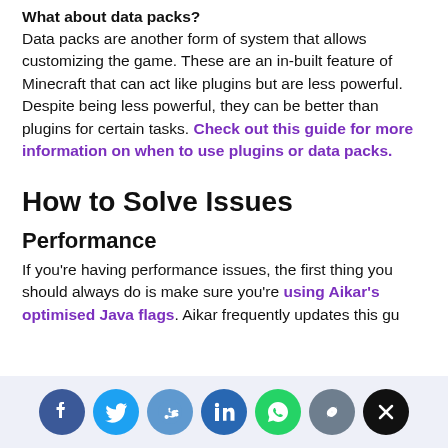What about data packs?
Data packs are another form of system that allows customizing the game. These are an in-built feature of Minecraft that can act like plugins but are less powerful. Despite being less powerful, they can be better than plugins for certain tasks. Check out this guide for more information on when to use plugins or data packs.
How to Solve Issues
Performance
If you're having performance issues, the first thing you should always do is make sure you're using Aikar's optimised Java flags. Aikar frequently updates this guide, so you'll always be using the latest JVM flags for Minecraft.
[Figure (infographic): Social share bar with icons for Facebook, Twitter, Reddit, LinkedIn, WhatsApp, copy link, and close (X).]